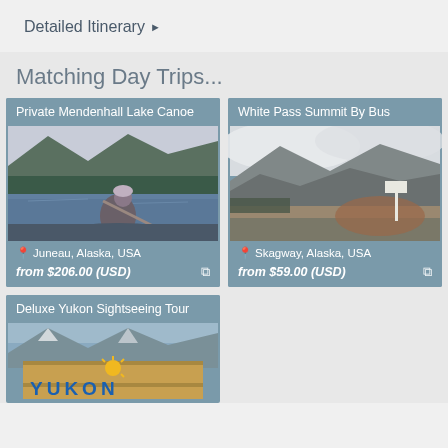Detailed Itinerary ▶
Matching Day Trips...
[Figure (photo): Card: Private Mendenhall Lake Canoe - woman paddling on calm lake with mountains and forest in background, Juneau Alaska USA, from $206.00 (USD)]
[Figure (photo): Card: White Pass Summit By Bus - rocky mountain landscape with clouds and low visibility, Skagway Alaska USA, from $59.00 (USD)]
[Figure (photo): Card: Deluxe Yukon Sightseeing Tour - Yukon sign with mountains in background]